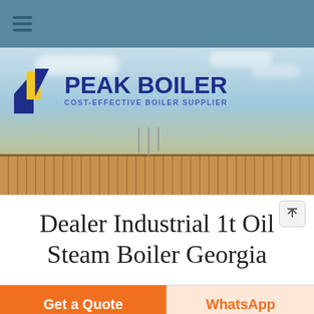[Figure (screenshot): Peak Boiler website screenshot showing navigation bar with hamburger menu, hero banner with company logo and building photograph, page title, and call-to-action buttons]
Dealer Industrial 1t Oil Steam Boiler Georgia
Get a Quote
WhatsApp